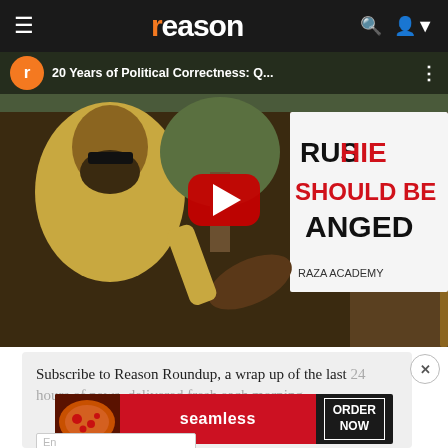reason
[Figure (screenshot): YouTube video thumbnail showing '20 Years of Political Correctness: Q...' with a protest scene in the background showing a sign reading 'RUSHDIE SHOULD BE HANGED' from Raza Academy, with a large red YouTube play button in the center.]
Subscribe to Reason Roundup, a wrap up of the last 24 hours of news, delivered fresh each morning.
[Figure (photo): Seamless food delivery advertisement banner with pizza image on left, red 'seamless' logo in center, and 'ORDER NOW' button on right, on dark background.]